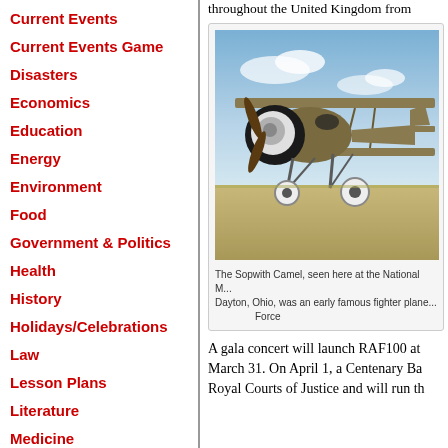throughout the United Kingdom from
Current Events
Current Events Game
Disasters
Economics
Education
Energy
Environment
Food
Government & Politics
Health
History
Holidays/Celebrations
Law
Lesson Plans
Literature
Medicine
Military
[Figure (photo): The Sopwith Camel biplane aircraft seen on a grass airfield, viewed from the front-left angle, with a large engine and propeller visible.]
The Sopwith Camel, seen here at the National M... Dayton, Ohio, was an early famous fighter plane... Force
A gala concert will launch RAF100 at March 31. On April 1, a Centenary Ba Royal Courts of Justice and will run th